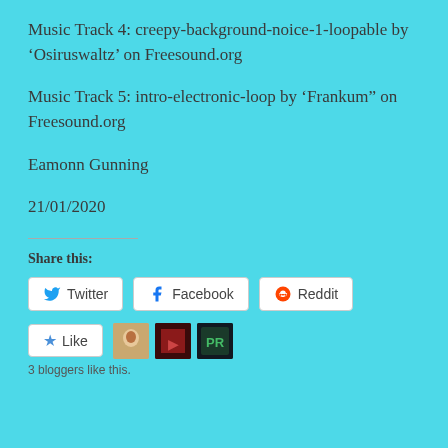Music Track 4: creepy-background-noice-1-loopable by ‘Osiruswaltz’ on Freesound.org
Music Track 5: intro-electronic-loop by ‘Frankum” on Freesound.org
Eamonn Gunning
21/01/2020
Share this:
[Figure (screenshot): Social share buttons for Twitter, Facebook, and Reddit]
[Figure (screenshot): Like button and 3 blogger avatars]
3 bloggers like this.